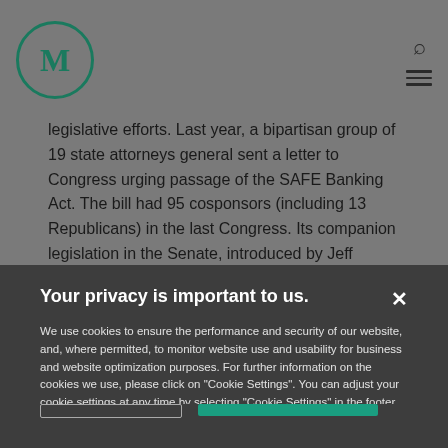[Figure (logo): Circular logo with letter M in teal/dark green color]
legislative efforts. Last year, a bipartisan group of 19 state attorneys general sent a letter to Congress urging passage of the SAFE Banking Act. The bill had 95 cosponsors (including 13 Republicans) in the last Congress. Its companion legislation in the Senate, introduced by Jeff Merkley (D-OR), had 20
Your privacy is important to us.
We use cookies to ensure the performance and security of our website, and, where permitted, to monitor website use and usability for business and website optimization purposes. For further information on the cookies we use, please click on "Cookie Settings". You can adjust your cookie settings at any time by selecting "Cookie Settings" in the footer of the website.